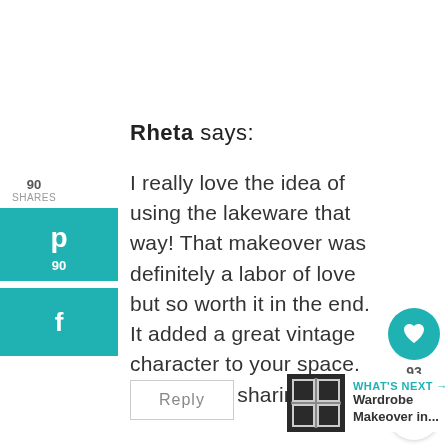Rheta says:
I really love the idea of using the lakeware that way! That makeover was definitely a labor of love but so worth it in the end. It added a great vintage character to your space. Thanks for sharing it.
90 SHARES
[Figure (infographic): Pinterest share button (teal background, P icon, 90 count)]
[Figure (infographic): Facebook share button (teal background, f icon)]
[Figure (infographic): Heart like button (teal circle) with count 93, and share icon below]
Reply
WHAT'S NEXT → Wardrobe Makeover in...